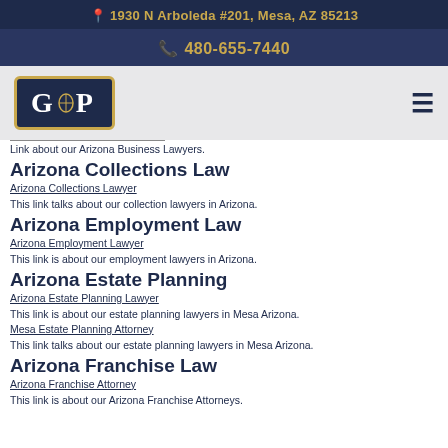📍 1930 N Arboleda #201, Mesa, AZ 85213
📞 480-655-7440
[Figure (logo): GDP law firm logo — white letters GDP on dark navy background with gold border]
Link about our Arizona Business Lawyers.
Arizona Collections Law
Arizona Collections Lawyer
This link talks about our collection lawyers in Arizona.
Arizona Employment Law
Arizona Employment Lawyer
This link is about our employment lawyers in Arizona.
Arizona Estate Planning
Arizona Estate Planning Lawyer
This link is about our estate planning lawyers in Mesa Arizona.
Mesa Estate Planning Attorney
This link talks about our estate planning lawyers in Mesa Arizona.
Arizona Franchise Law
Arizona Franchise Attorney
This link is about our Arizona Franchise Attorneys.